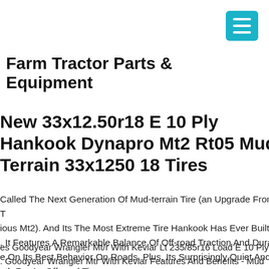[Figure (other): Teal/cyan hamburger menu button icon in top-right corner]
Farm Tractor Parts & Equipment
New 33x12.50r18 E 10 Ply Hankook Dynapro Mt2 Rt05 Mud Terrain 33x1250 18 Tires
Called The Next Generation Of Mud-terrain Tire (an Upgrade From The Previous Mt2). And Its The Most Extreme Tire Hankook Has Ever Built To Date. It Features A Remarkable Balance Of Off-road Traction And Durability While On Its Best Behavior On Roads. Plus, Its Surprisingly Quiet And Smooth For An Off-road Tire.
Compares Goodyear Wrangler Mt/r With Kevlar Lt 235/85r16 Load E 10 Ply Tires. Goodyear Wrangler Mtr With Kevlar Features And Benefits - Mud Terrain Traction - Enhanced Controllability - Damage Resistance